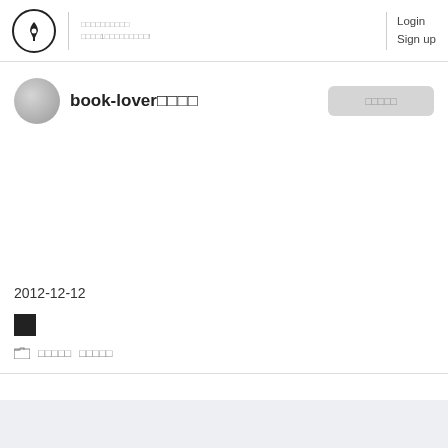□□□□□□□□□□ □□□□1□□□□□□□□□!  Login  Sign up
book-lover□□□□
□□□□□
2012-12-12
[Figure (other): Small black square image/thumbnail]
□□□□□  □□□□□